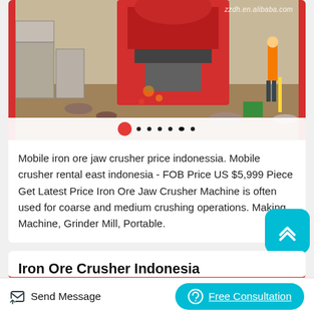[Figure (photo): Construction site with red jaw crusher machine and workers, watermark 'zzdh.en.alibaba.com' visible]
Mobile iron ore jaw crusher price indonessia. Mobile crusher rental east indonesia - FOB Price US $5,999 Piece Get Latest Price Iron Ore Jaw Crusher Machine is often used for coarse and medium crushing operations. Making Machine, Grinder Mill, Portable.
Iron Ore Crusher Indonesia
Send Message
Free Consultation